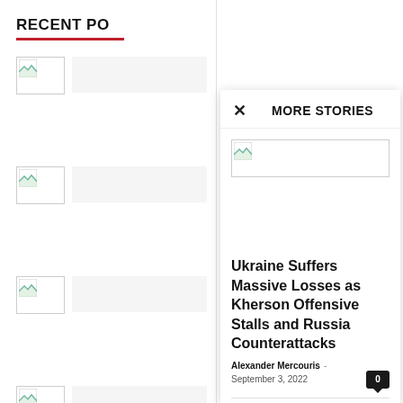RECENT PO
[Figure (photo): Thumbnail image placeholder 1]
[Figure (photo): Thumbnail image placeholder 2]
[Figure (photo): Thumbnail image placeholder 3]
[Figure (photo): Thumbnail image placeholder 4]
MORE STORIES
[Figure (photo): Main article image placeholder]
Ukraine Suffers Massive Losses as Kherson Offensive Stalls and Russia Counterattacks
Alexander Mercouris - September 3, 2022
Ready For Changes In...
economic crisis  September 3, 2022